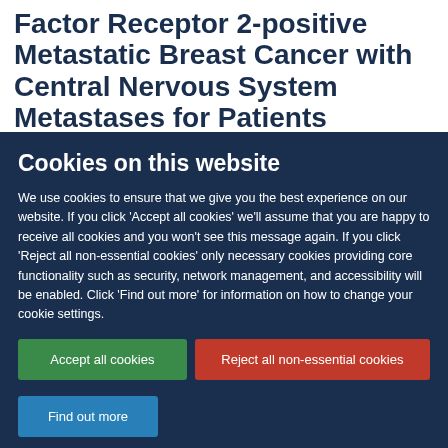Factor Receptor 2-positive Metastatic Breast Cancer with Central Nervous System Metastases for Patients
Cookies on this website
We use cookies to ensure that we give you the best experience on our website. If you click 'Accept all cookies' we'll assume that you are happy to receive all cookies and you won't see this message again. If you click 'Reject all non-essential cookies' only necessary cookies providing core functionality such as security, network management, and accessibility will be enabled. Click 'Find out more' for information on how to change your cookie settings.
Accept all cookies
Reject all non-essential cookies
Find out more